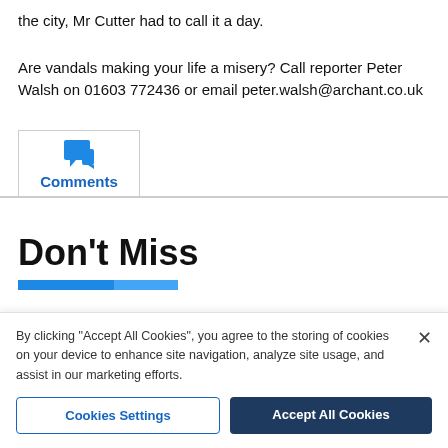the city, Mr Cutter had to call it a day.
Are vandals making your life a misery? Call reporter Peter Walsh on 01603 772436 or email peter.walsh@archant.co.uk
[Figure (other): Comments tab with blue speech bubble icon and label 'Comments']
Don't Miss
By clicking "Accept All Cookies", you agree to the storing of cookies on your device to enhance site navigation, analyze site usage, and assist in our marketing efforts.
Cookies Settings | Accept All Cookies